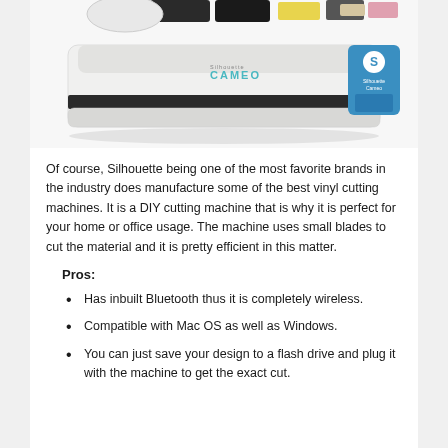[Figure (photo): Photo of a Silhouette Cameo vinyl cutting machine, white, with a blue touch screen panel on the right side. Various colored materials/cards visible in the background above the machine.]
Of course, Silhouette being one of the most favorite brands in the industry does manufacture some of the best vinyl cutting machines. It is a DIY cutting machine that is why it is perfect for your home or office usage. The machine uses small blades to cut the material and it is pretty efficient in this matter.
Pros:
Has inbuilt Bluetooth thus it is completely wireless.
Compatible with Mac OS as well as Windows.
You can just save your design to a flash drive and plug it with the machine to get the exact cut.